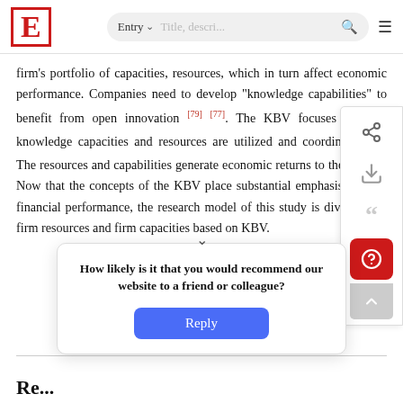E  Entry  Title, description...
firm's portfolio of capacities, resources, which in turn affect economic performance. Companies need to develop "knowledge capabilities" to benefit from open innovation [79] [77]. The KBV focuses on how knowledge capacities and resources are utilized and coordinated [78]. The resources and capabilities generate economic returns to the firm [1]. Now that the concepts of the KBV place substantial emphasis on firm financial performance, the research model of this study is divided into firm resources and firm capacities based on KBV.
How likely is it that you would recommend our website to a friend or colleague?
Reply